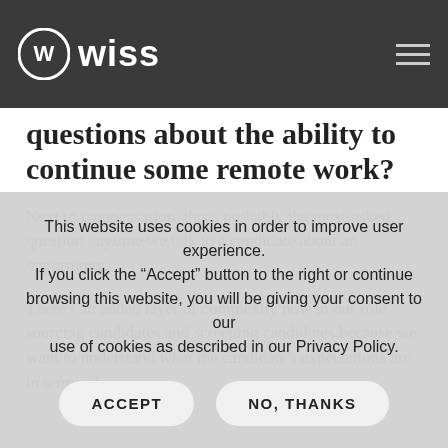Wiss
questions about the ability to continue some remote work?
Next to compensation, that's probably the most-asked question anytime we talk to a candidate about an opportunity.
There's an added layer of complexity now in our role sourcing candidates and screening candidates because we want to understand what the candidate's expectations are in terms of
This website uses cookies in order to improve user experience. If you click the “Accept” button to the right or continue browsing this website, you will be giving your consent to our use of cookies as described in our Privacy Policy.
ACCEPT
NO, THANKS